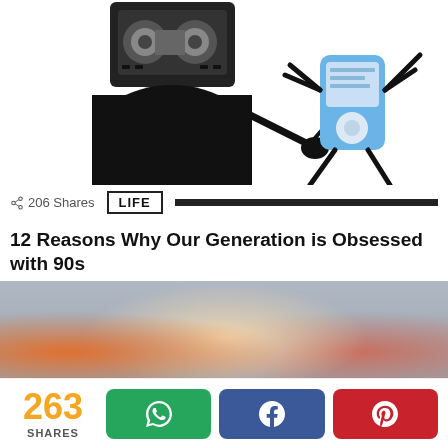[Figure (illustration): Stick figure illustration showing a cassette tape character bowing/prostrating before an iPod character on a white background]
206 Shares
LIFE
12 Reasons Why Our Generation is Obsessed with 90s
[Figure (photo): Photo of people in a crowded scene, someone pouring a liquid from a glass container, a woman in a red headscarf visible in the background]
263 SHARES